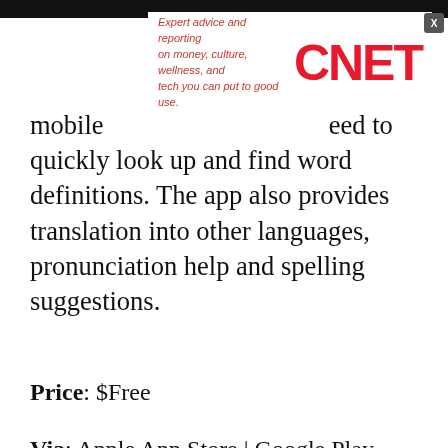[Figure (screenshot): CNET advertisement banner with italic red text 'Expert advice and reporting on money, culture, wellness, and tech you can put to good use.' and CNET logo in red]
mobile app ... eed to quickly look up and find word definitions. The app also provides translation into other languages, pronunciation help and spelling suggestions.
Price: $Free
Via: Apple App Store | Google Play
[Figure (illustration): CNET promotional section with red headline 'The opposite of doomscrolling' and colorful illustration of person with mobile devices on green grid background]